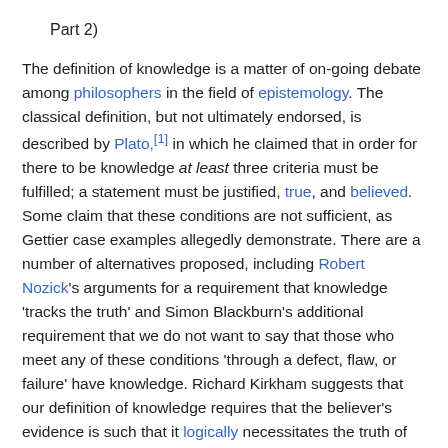Part 2)
The definition of knowledge is a matter of on-going debate among philosophers in the field of epistemology. The classical definition, but not ultimately endorsed, is described by Plato,[1] in which he claimed that in order for there to be knowledge at least three criteria must be fulfilled; a statement must be justified, true, and believed. Some claim that these conditions are not sufficient, as Gettier case examples allegedly demonstrate. There are a number of alternatives proposed, including Robert Nozick's arguments for a requirement that knowledge 'tracks the truth' and Simon Blackburn's additional requirement that we do not want to say that those who meet any of these conditions 'through a defect, flaw, or failure' have knowledge. Richard Kirkham suggests that our definition of knowledge requires that the believer's evidence is such that it logically necessitates the truth of the belief.